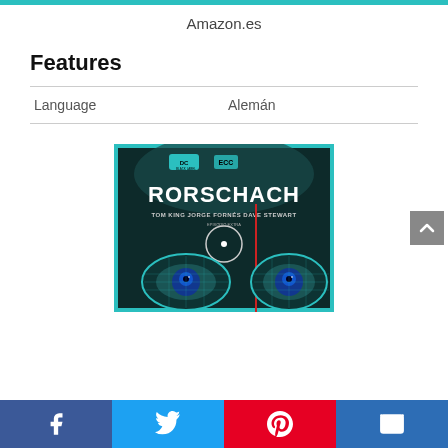Amazon.es
Features
| Language | Alemán |
| --- | --- |
[Figure (photo): Book cover of Rorschach by Tom King, Jorge Fornés, Dave Stewart. DC Black Label. Shows stylized goggles/eyes in teal and blue tones.]
Facebook | Twitter | Pinterest | Email